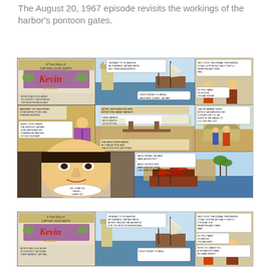The August 20, 1967 episode revisits the workings of the harbor's pontoon gates.
[Figure (illustration): Kevin the Bold comic strip from August 20, 1967, showing Captain John Smith and other characters in multiple panels depicting scenes in a Moroccan harbor with ships, a castle, and various action scenes.]
[Figure (illustration): Partial repeat/second instance of the Kevin the Bold comic strip, showing the top portion of the same strip with the title panel and first row of comic panels.]